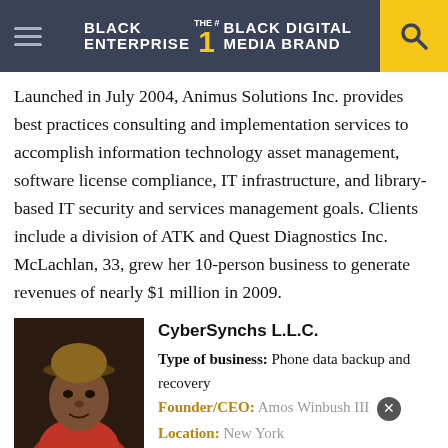BLACK ENTERPRISE THE #1 BLACK DIGITAL MEDIA BRAND
Launched in July 2004, Animus Solutions Inc. provides best practices consulting and implementation services to accomplish information technology asset management, software license compliance, IT infrastructure, and library-based IT security and services management goals. Clients include a division of ATK and Quest Diagnostics Inc. McLachlan, 33, grew her 10-person business to generate revenues of nearly $1 million in 2009.
[Figure (photo): Portrait photo of Amos Winbush III, a man wearing a cap and red shirt]
CyberSynchs L.L.C.
Type of business: Phone data backup and recovery
Founder/CEO: Amos Winbush III
Location: New York